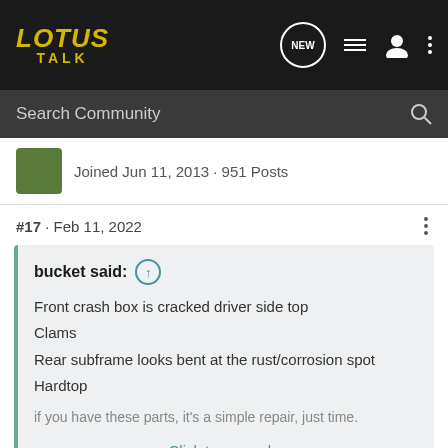LOTUS TALK
Search Community
Joined Jun 11, 2013 · 951 Posts
#17 · Feb 11, 2022
bucket said: ↑
Front crash box is cracked driver side top
Clams
Rear subframe looks bent at the rust/corrosion spot
Hardtop

if you have these parts, it's a simple repair, just time.

Click to expand...
$45k for a branded-title Elise would need to come with something substancial on the side. A branded title stays with